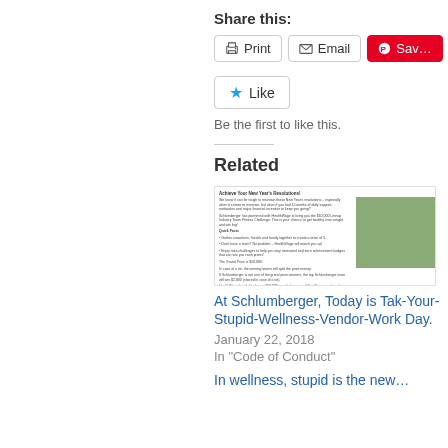Share this:
Print  Email  Save
Like
Be the first to like this.
Related
[Figure (screenshot): Thumbnail screenshot of a wellness challenge article with text and a photo of people outdoors.]
At Schlumberger, Today is Tak-Your-Stupid-Wellness-Vendor-Work Day.
January 22, 2018
In "Code of Conduct"
In wellness, stupid is the new…